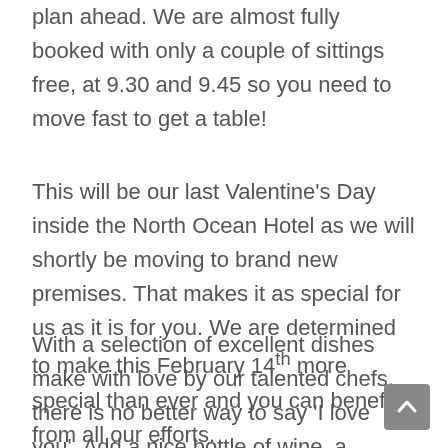plan ahead. We are almost fully booked with only a couple of sittings free, at 9.30 and 9.45 so you need to move fast to get a table!
This will be our last Valentine's Day inside the North Ocean Hotel as we will shortly be moving to brand new premises. That makes it as special for us as it is for you. We are determined to make this February 14th more special than ever and you can benefit from all our efforts.
With a selection of excellent dishes make with love by our talented chefs, there is no better way to say 'I love you'. Add a nice bottle of wine, a relaxed ambience and the scene is set for a nice evening out. Our team are always on hand to cater for any special requests should there be anything you